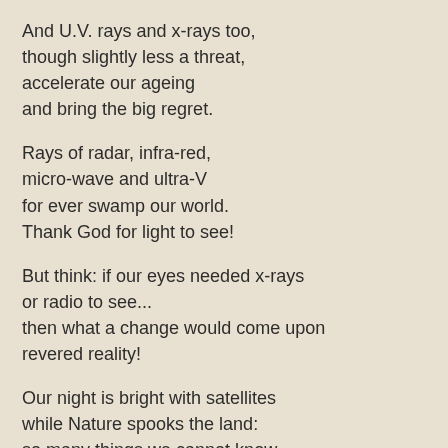And U.V. rays and x-rays too,
though slightly less a threat,
accelerate our ageing
and bring the big regret.
Rays of radar, infra-red,
micro-wave and ultra-V
for ever swamp our world.
Thank God for light to see!
But think: if our eyes needed x-rays
or radio to see...
then what a change would come upon
revered reality!
Our night is bright with satellites
while Nature spooks the land:
so many things we cannot know
except at second hand.
The challenge (at Poetry Jam ) was to write a poem from a